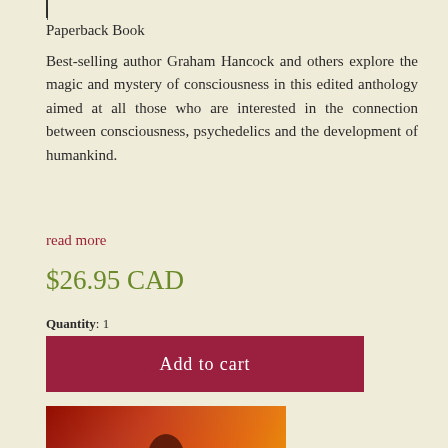|
Paperback Book
Best-selling author Graham Hancock and others explore the magic and mystery of consciousness in this edited anthology aimed at all those who are interested in the connection between consciousness, psychedelics and the development of humankind.
read more
$26.95 CAD
Quantity: 1
Add to cart
[Figure (photo): Book cover of 'Entangled: The Eater of Souls' by Graham Hancock, showing fiery red and orange tones with human figure imagery]